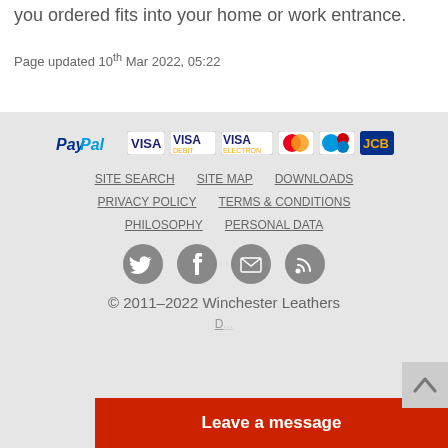you ordered fits into your home or work entrance.
Page updated 10th Mar 2022, 05:22
[Figure (logo): Payment method logos: PayPal, VISA, VISA Debit, VISA Electron, MasterCard, Maestro, JCB]
SITE SEARCH   SITE MAP   DOWNLOADS
PRIVACY POLICY   TERMS & CONDITIONS
PHILOSOPHY   PERSONAL DATA
[Figure (infographic): Social media icons: Twitter, Facebook, Email, RSS]
© 2011–2022 Winchester Leathers
Leave a message